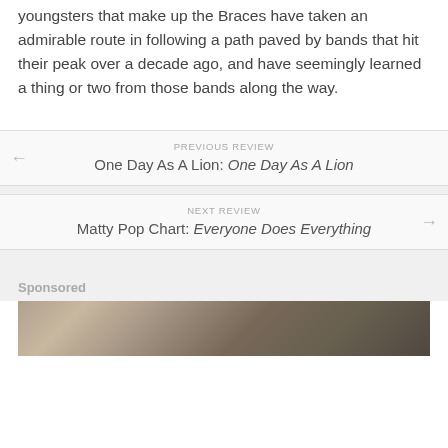youngsters that make up the Braces have taken an admirable route in following a path paved by bands that hit their peak over a decade ago, and have seemingly learned a thing or two from those bands along the way.
← PREVIOUS REVIEW
One Day As A Lion: One Day As A Lion
NEXT REVIEW →
Matty Pop Chart: Everyone Does Everything
Sponsored